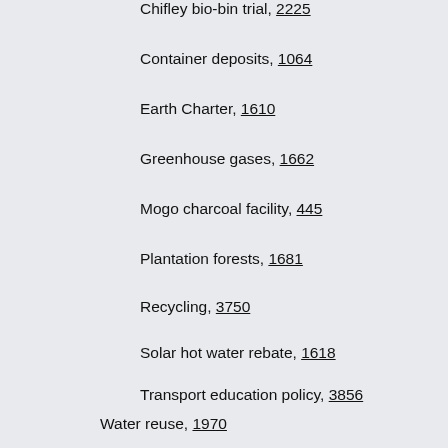Chifley bio-bin trial, 2225
Container deposits, 1064
Earth Charter, 1610
Greenhouse gases, 1662
Mogo charcoal facility, 445
Plantation forests, 1681
Recycling, 3750
Solar hot water rebate, 1618
Transport education policy, 3856
Water reuse, 1970
Fair Trading Amendment Bill 2002, prin, 3085